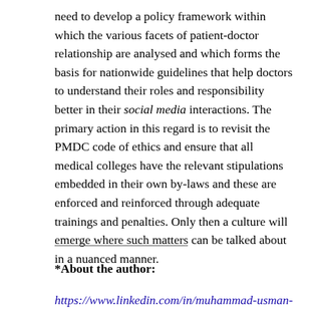need to develop a policy framework within which the various facets of patient-doctor relationship are analysed and which forms the basis for nationwide guidelines that help doctors to understand their roles and responsibility better in their social media interactions. The primary action in this regard is to revisit the PMDC code of ethics and ensure that all medical colleges have the relevant stipulations embedded in their own by-laws and these are enforced and reinforced through adequate trainings and penalties. Only then a culture will emerge where such matters can be talked about in a nuanced manner.
*About the author:
https://www.linkedin.com/in/muhammad-usman-